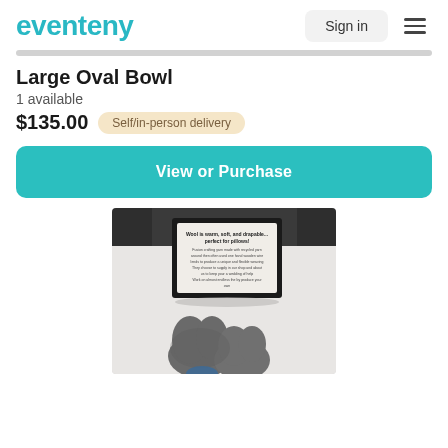eventeny | Sign in
Large Oval Bowl
1 available
$135.00  Self/in-person delivery
View or Purchase
[Figure (photo): A photo of felt mittens (grey/charcoal colored, heart-shaped appearance) on a white surface, with a framed sign in a black frame behind them.]